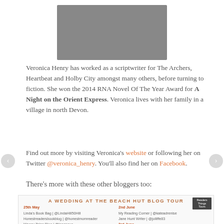[Figure (photo): Portrait photo of a person wearing a dark jacket, cropped at top of page]
Veronica Henry has worked as a scriptwriter for The Archers, Heartbeat and Holby City amongst many others, before turning to fiction. She won the 2014 RNA Novel Of The Year Award for A Night on the Orient Express. Veronica lives with her family in a village in north Devon.
Find out more by visiting Veronica's website or following her on Twitter @veronica_henry. You'll also find her on Facebook.
There's more with these other bloggers too:
[Figure (infographic): A Wedding at the Beach Hut Blog Tour banner listing blog tour dates and participants. 25th May: Linda's Book Bag | @LindaHill50Hill, Honestreadersbookblog | @honestmomreader, Waggy Tales Blog | @leacagua. 2nd June: My Reading Corner | @kateadrenise, Jane Hunt Writer | @jolliffe83. 3rd June: (partially visible)]